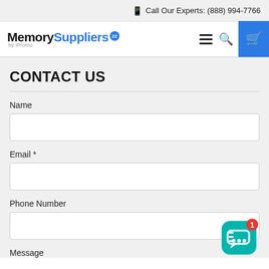Call Our Experts: (888) 994-7766
[Figure (logo): Memory Suppliers by iPromo logo with navigation icons (hamburger menu, search, cart)]
CONTACT US
Name
Email *
Phone Number
Message
[Figure (other): Teal chat bubble with notification badge showing 1]